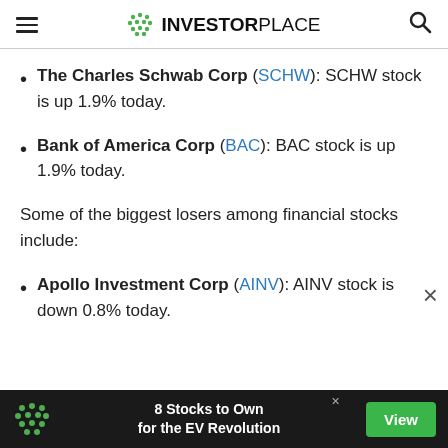INVESTORPLACE
The Charles Schwab Corp (SCHW): SCHW stock is up 1.9% today.
Bank of America Corp (BAC): BAC stock is up 1.9% today.
Some of the biggest losers among financial stocks include:
Apollo Investment Corp (AINV): AINV stock is down 0.8% today.
[Figure (infographic): Advertisement banner: '8 Stocks to Own for the EV Revolution' with a View button on dark background]